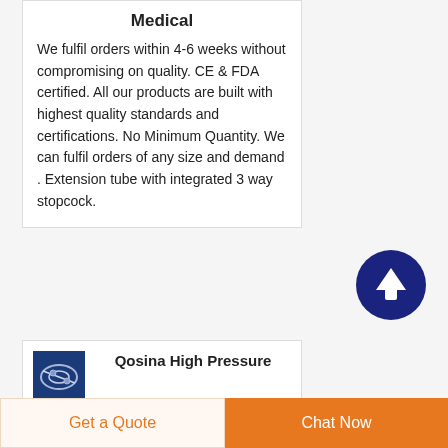Medical
We fulfil orders within 4-6 weeks without compromising on quality. CE & FDA certified. All our products are built with highest quality standards and certifications. No Minimum Quantity. We can fulfil orders of any size and demand . Extension tube with integrated 3 way stopcock.
[Figure (illustration): Dark blue circular button with white upward arrow, used as scroll-to-top button]
[Figure (photo): Blue square thumbnail showing medical stopcock components on blue background]
Qosina High Pressure StopcocksQmed
· Ronkonkoma, NYJuly 17,
Get a Quote
Chat Now